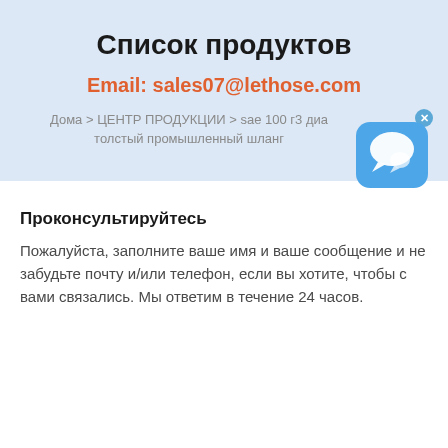Список продуктов
Email: sales07@lethose.com
Дома > ЦЕНТР ПРОДУКЦИИ > sae 100 г3 диа толстый промышленный шланг
[Figure (illustration): Blue chat bubble icon with a white speech bubble graphic, and a small close (x) button in the top-right corner]
Проконсультируйтесь
Пожалуйста, заполните ваше имя и ваше сообщение и не забудьте почту и/или телефон, если вы хотите, чтобы с вами связались. Мы ответим в течение 24 часов.